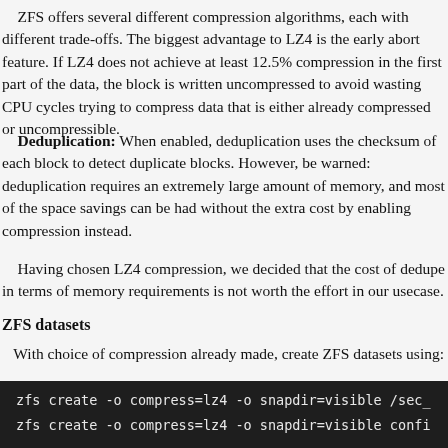ZFS offers several different compression algorithms, each with different trade-offs. The biggest advantage to LZ4 is the early abort feature. If LZ4 does not achieve at least 12.5% compression in the first part of the data, the block is written uncompressed to avoid wasting CPU cycles trying to compress data that is either already compressed or uncompressible.
Deduplication: When enabled, deduplication uses the checksum of each block to detect duplicate blocks. However, be warned: deduplication requires an extremely large amount of memory, and most of the space savings can be had without the extra cost by enabling compression instead.
Having chosen LZ4 compression, we decided that the cost of dedupe in terms of memory requirements is not worth the effort in our usecase.
ZFS datasets
With choice of compression already made, create ZFS datasets using:
[Figure (screenshot): Dark terminal code block showing two zfs create commands with compress=lz4 and snapdir=visible options]